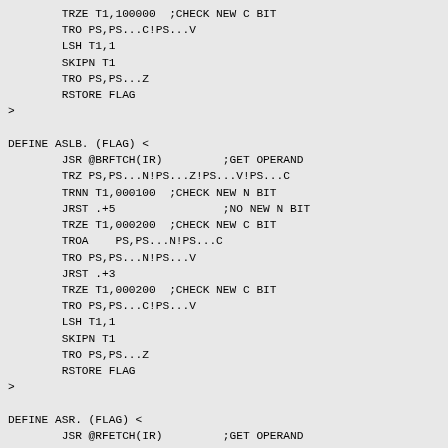TRZE T1,100000  ;CHECK NEW C BIT
        TRO PS,PS...C!PS...V
        LSH T1,1
        SKIPN T1
        TRO PS,PS...Z
        RSTORE FLAG
>

DEFINE ASLB. (FLAG) <
        JSR @BRFTCH(IR)         ;GET OPERAND
        TRZ PS,PS...N!PS...Z!PS...V!PS...C
        TRNN T1,000100  ;CHECK NEW N BIT
        JRST .+5                ;NO NEW N BIT
        TRZE T1,000200  ;CHECK NEW C BIT
        TROA    PS,PS...N!PS...C
        TRO PS,PS...N!PS...V
        JRST .+3
        TRZE T1,000200  ;CHECK NEW C BIT
        TRO PS,PS...C!PS...V
        LSH T1,1
        SKIPN T1
        TRO PS,PS...Z
        RSTORE FLAG
>

DEFINE ASR. (FLAG) <
        JSR @RFETCH(IR)         ;GET OPERAND
        TRZ PS,PS...N!PS...Z!PS...V!PS...C
        TRNN T1,100000  ;CHECK NEW N BIT
        JRST .+6                ;NO NEW N BIT